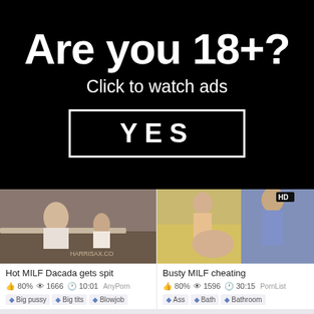[Figure (illustration): Age verification ad banner on black background with text 'Are you 18+?', 'Click to watch ads', and a YES button with white border]
[Figure (photo): Video thumbnail for 'Hot MILF Dacada gets spit' showing two people on a medical table, medical setting]
Hot MILF Dacada gets spit
80%  1666  10:01  AnyPorn
Big pussy  Big tits  Blowjob
[Figure (photo): Video thumbnail for 'Busty MILF cheating' showing two people in a bathroom/shower setting, HD badge in corner]
Busty MILF cheating
80%  1596  30:15  PornList
Ass  Bath  Bathroom